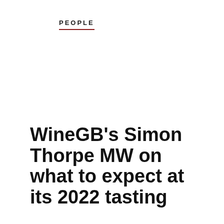PEOPLE
WineGB's Simon Thorpe MW on what to expect at its 2022 tasting